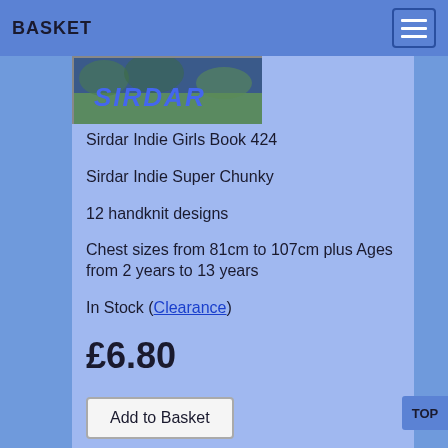BASKET
[Figure (photo): Sirdar book cover showing the word SIRDAR with a background nature/outdoor scene]
Sirdar Indie Girls Book 424
Sirdar Indie Super Chunky
12 handknit designs
Chest sizes from 81cm to 107cm plus Ages from 2 years to 13 years
In Stock (Clearance)
£6.80
Add to Basket
Book Details